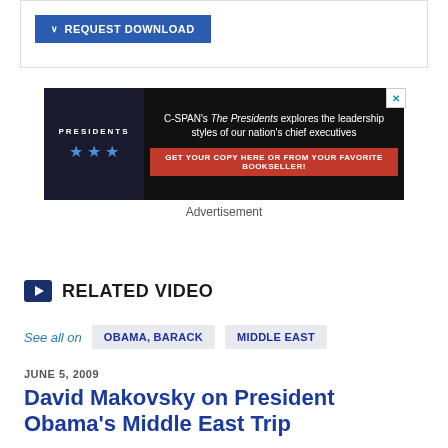[Figure (screenshot): Blue button labeled REQUEST DOWNLOAD with a downward chevron icon, inside a card with border]
[Figure (illustration): C-SPAN advertisement banner for 'The Presidents' book. Dark background with blue star graphics on left, text on right reading: C-SPAN's The Presidents explores the leadership styles of our nation's chief executives. GET YOUR COPY HERE OR FROM YOUR FAVORITE BOOKSELLER! Red call-to-action bar at bottom.]
Advertisement
RELATED VIDEO
See all on   OBAMA, BARACK   MIDDLE EAST
JUNE 5, 2009
David Makovsky on President Obama's Middle East Trip
David Makovsky talked about President Obama's trip to the Middle East and his speech at Cairo University. Mr. Makovsky also…